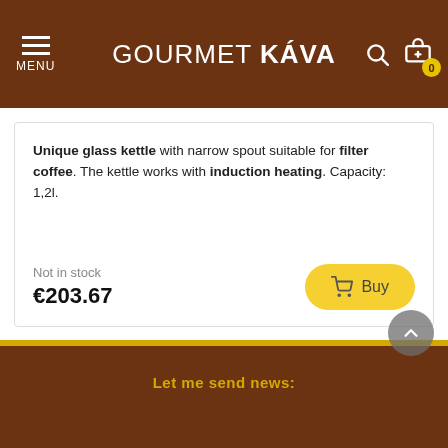GOURMET KÁVA
Unique glass kettle with narrow spout suitable for filter coffee. The kettle works with induction heating. Capacity: 1,2l.
Not in stock
€203.67
Showing 1-11 of 11 item(s)
Let me send news: